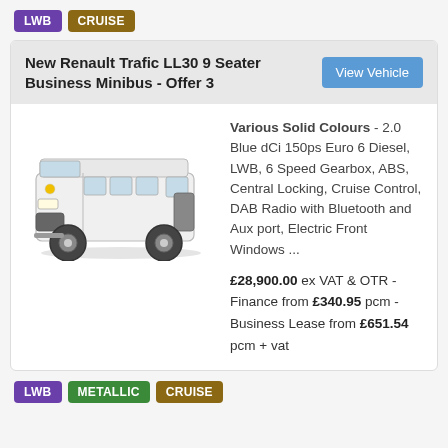LWB   CRUISE
New Renault Trafic LL30 9 Seater Business Minibus - Offer 3
[Figure (photo): White Renault Trafic LWB minibus van, front three-quarter view]
Various Solid Colours - 2.0 Blue dCi 150ps Euro 6 Diesel, LWB, 6 Speed Gearbox, ABS, Central Locking, Cruise Control, DAB Radio with Bluetooth and Aux port, Electric Front Windows ...
£28,900.00 ex VAT & OTR - Finance from £340.95 pcm - Business Lease from £651.54 pcm + vat
LWB   METALLIC   CRUISE